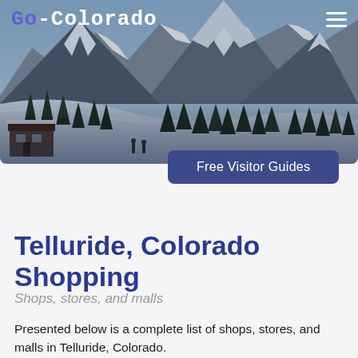[Figure (photo): Snowy mountain landscape with pine trees and a wooden cabin, Colorado Rocky Mountains winter scene]
Go-Colorado
Free Visitor Guides
Telluride, Colorado Shopping
Shops, stores, and malls
Presented below is a complete list of shops, stores, and malls in Telluride, Colorado.